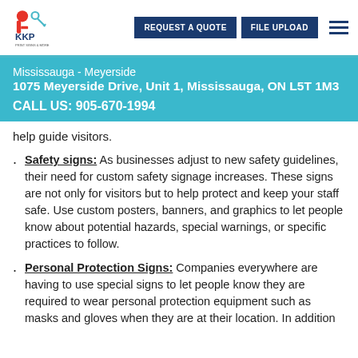KKP | REQUEST A QUOTE | FILE UPLOAD
Mississauga - Meyerside
1075 Meyerside Drive, Unit 1, Mississauga, ON L5T 1M3
CALL US: 905-670-1994
help guide visitors.
Safety signs: As businesses adjust to new safety guidelines, their need for custom safety signage increases. These signs are not only for visitors but to help protect and keep your staff safe. Use custom posters, banners, and graphics to let people know about potential hazards, special warnings, or specific practices to follow.
Personal Protection Signs: Companies everywhere are having to use special signs to let people know they are required to wear personal protection equipment such as masks and gloves when they are at their location. In addition